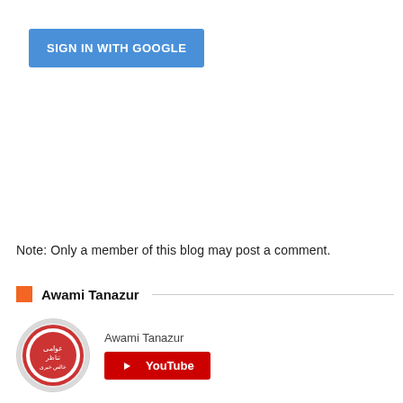[Figure (screenshot): Blue 'SIGN IN WITH GOOGLE' button]
Note: Only a member of this blog may post a comment.
Awami Tanazur
[Figure (logo): Circular logo for Awami Tanazur with Urdu text]
Awami Tanazur
[Figure (screenshot): Red YouTube button]